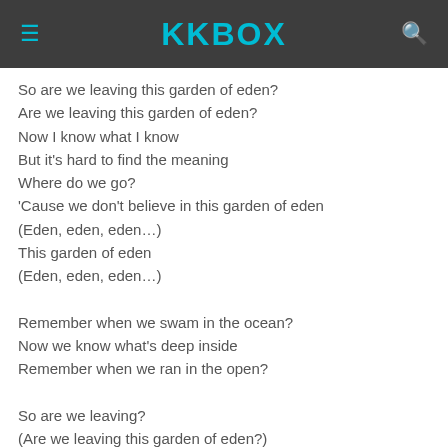KKBOX
So are we leaving this garden of eden?
Are we leaving this garden of eden?
Now I know what I know
But it's hard to find the meaning
Where do we go?
'Cause we don't believe in this garden of eden
(Eden, eden, eden…)
This garden of eden
(Eden, eden, eden…)

Remember when we swam in the ocean?
Now we know what's deep inside
Remember when we ran in the open?

So are we leaving?
(Are we leaving this garden of eden?)
Are we leaving?
(Are we leaving this garden of eden?)